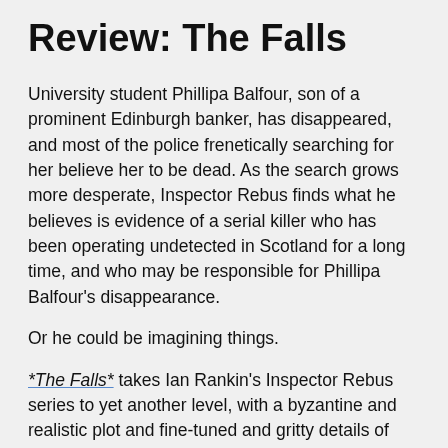Review: The Falls
University student Phillipa Balfour, son of a prominent Edinburgh banker, has disappeared, and most of the police frenetically searching for her believe her to be dead. As the search grows more desperate, Inspector Rebus finds what he believes is evidence of a serial killer who has been operating undetected in Scotland for a long time, and who may be responsible for Phillipa Balfour's disappearance.
Or he could be imagining things.
*The Falls* takes Ian Rankin's Inspector Rebus series to yet another level, with a byzantine and realistic plot and fine-tuned and gritty details of police investigations, including the internal politics and personal relationships between the people whose jobs and sometimes obsessions are to delve into the